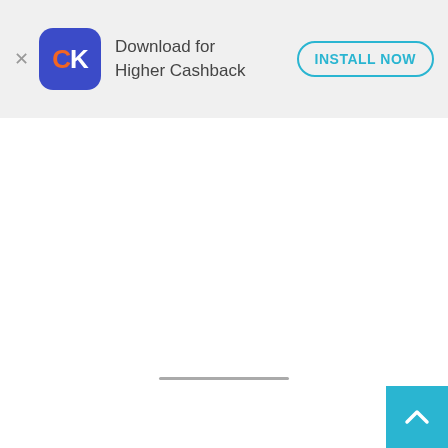[Figure (screenshot): App install banner for CK (Credit Karma) app with orange C and white K logo on blue rounded square background, text 'Download for Higher Cashback', and 'INSTALL NOW' button in teal outlined pill shape, on grey background. Close X button on left.]